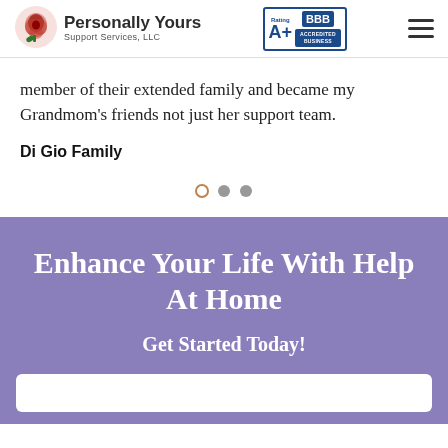Personally Yours Support Services, LLC — A+ BBB Accredited Business
member of their extended family and became my Grandmom's friends not just her support team.
Di Gio Family
[Figure (infographic): Carousel navigation dots: one orange outlined circle (active), two gray filled circles]
Enhance Your Life With Help At Home
Get Started Today!